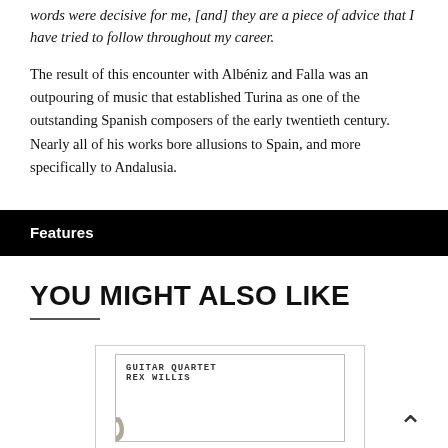words were decisive for me, [and] they are a piece of advice that I have tried to follow throughout my career.
The result of this encounter with Albéniz and Falla was an outpouring of music that established Turina as one of the outstanding Spanish composers of the early twentieth century. Nearly all of his works bore allusions to Spain, and more specifically to Andalusia.
Features
YOU MIGHT ALSO LIKE
[Figure (photo): Album cover for Guitar Quartet by Rex Willis, showing large vertical stylized text in tan/grey color on white background, with smaller bold monospaced text at top reading GUITAR QUARTET REX WILLIS]